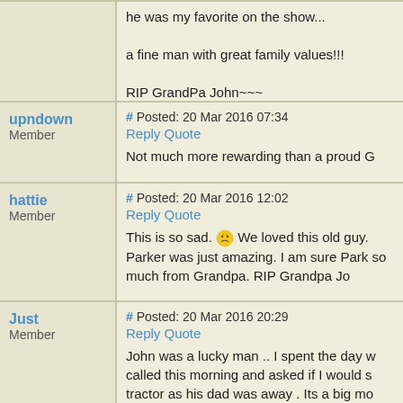he was my favorite on the show...

a fine man with great family values!!!

RIP GrandPa John~~~
upndown
Member
# Posted: 20 Mar 2016 07:34
Reply Quote

Not much more rewarding than a proud G
hattie
Member
# Posted: 20 Mar 2016 12:02
Reply Quote

This is so sad. [sad face emoji] We loved this old guy. Parker was just amazing. I am sure Park so much from Grandpa. RIP Grandpa Jo
Just
Member
# Posted: 20 Mar 2016 20:29
Reply Quote

John was a lucky man .. I spent the day w called this morning and asked if I would s tractor as his dad was away . Its a big mo